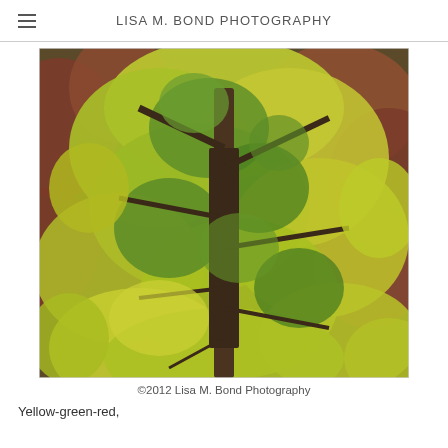LISA M. BOND PHOTOGRAPHY
[Figure (photo): Autumn tree canopy with yellow, green, and red maple leaves filling the frame, with visible tree branches and trunk]
©2012 Lisa M. Bond Photography
Yellow-green-red,